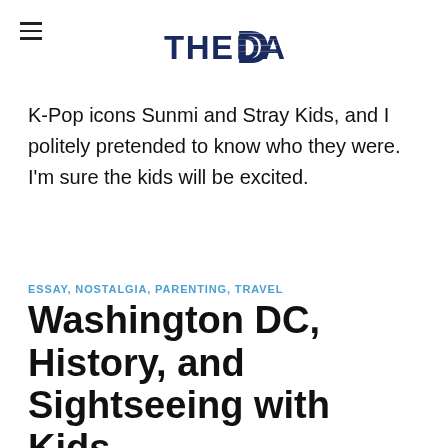THE DAD
K-Pop icons Sunmi and Stray Kids, and I politely pretended to know who they were. I'm sure the kids will be excited.
ESSAY, NOSTALGIA, PARENTING, TRAVEL
Washington DC, History, and Sightseeing with Kids